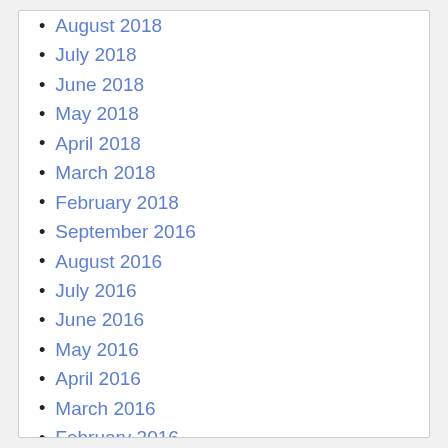August 2018
July 2018
June 2018
May 2018
April 2018
March 2018
February 2018
September 2016
August 2016
July 2016
June 2016
May 2016
April 2016
March 2016
February 2016
January 2016
August 2015